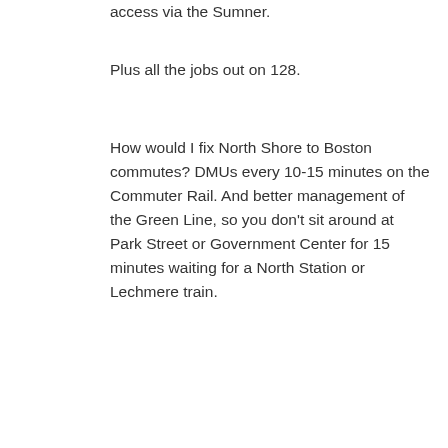access via the Sumner.
Plus all the jobs out on 128.
How would I fix North Shore to Boston commutes? DMUs every 10-15 minutes on the Commuter Rail. And better management of the Green Line, so you don't sit around at Park Street or Government Center for 15 minutes waiting for a North Station or Lechmere train.
[Figure (illustration): Thumbs up emoji icon in orange/yellow color]
Voting
closed
0
Reply
Great Idea!! Too bad I was only trying to drive my kid to school